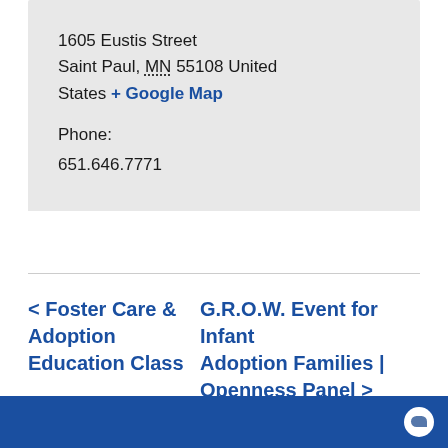1605 Eustis Street
Saint Paul, MN 55108 United States + Google Map
Phone:
651.646.7771
< Foster Care & Adoption Education Class
G.R.O.W. Event for Infant Adoption Families | Openness Panel >